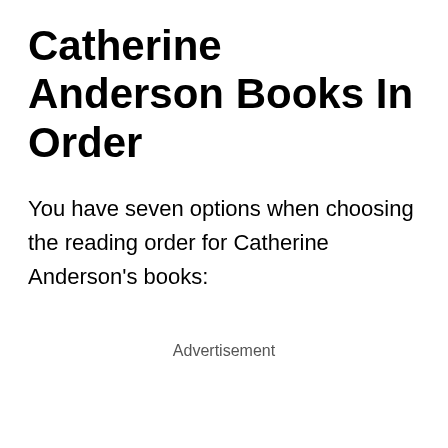Catherine Anderson Books In Order
You have seven options when choosing the reading order for Catherine Anderson's books:
Advertisement